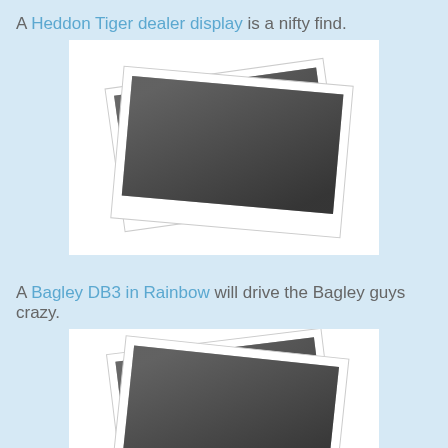A Heddon Tiger dealer display is a nifty find.
[Figure (photo): Two overlapping Polaroid-style photographs showing a Heddon Tiger dealer display, rendered in grayscale on a white background.]
A Bagley DB3 in Rainbow will drive the Bagley guys crazy.
[Figure (photo): Two overlapping Polaroid-style photographs showing a Bagley DB3 in Rainbow, partially visible, rendered in grayscale on a white background.]